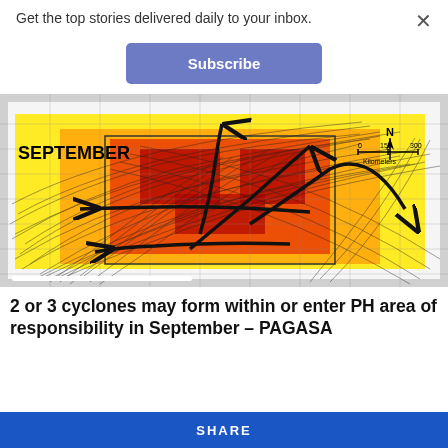Get the top stories delivered daily to your inbox.
×
Subscribe
[Figure (map): PAGASA cyclone track density map for September showing the Philippine area of responsibility. The map uses a heat-map overlay with yellow-to-red coloring indicating cyclone frequency, with multiple thin track lines and three bold curved arrows indicating typical cyclone paths. The word SEPTEMBER appears in bold at upper left. A north arrow and scale bar (0 150 300 Kilometers) appear at upper right.]
2 or 3 cyclones may form within or enter PH area of responsibility in September – PAGASA
SHARE